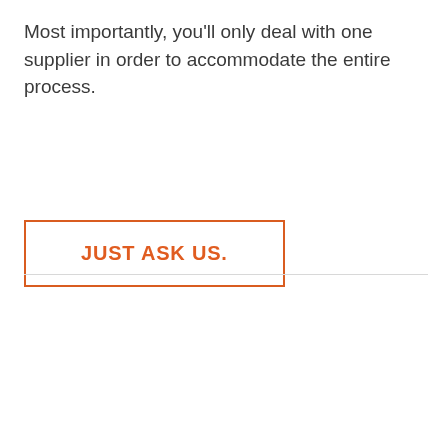Most importantly, you'll only deal with one supplier in order to accommodate the entire process.
JUST ASK US.